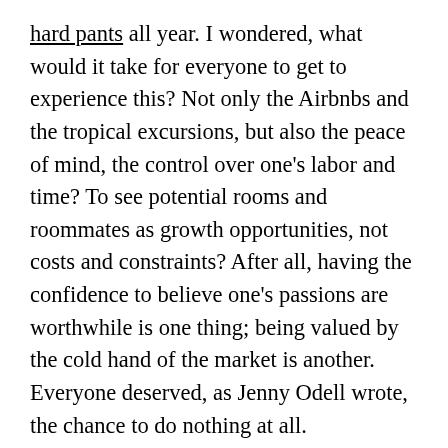hard pants all year. I wondered, what would it take for everyone to get to experience this? Not only the Airbnbs and the tropical excursions, but also the peace of mind, the control over one's labor and time? To see potential rooms and roommates as growth opportunities, not costs and constraints? After all, having the confidence to believe one's passions are worthwhile is one thing; being valued by the cold hand of the market is another. Everyone deserved, as Jenny Odell wrote, the chance to do nothing at all.
When I went through full-time job negotiations in early May, it was the first time I'd been forced to quantify my worth — to slap a dollar sign on